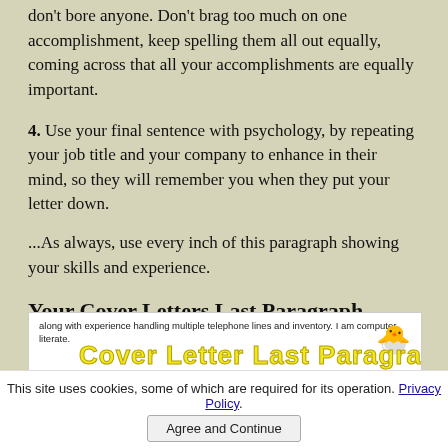don't bore anyone. Don't brag too much on one accomplishment, keep spelling them all out equally, coming across that all your accomplishments are equally important.
4. Use your final sentence with psychology, by repeating your job title and your company to enhance in their mind, so they will remember you when they put your letter down.
...As always, use every inch of this paragraph showing your skills and experience.
Your Cover Letters Last Paragraph
[Figure (screenshot): Screenshot of a cover letter last paragraph example with overlay text 'Cover Letter Last Paragraph' in yellow bold font, and a chick icon on the right. Text reads: 'along with experience handling multiple telephone lines and inventory. I am computer literate.' and partial text 'I look forward to hearing from you regarding a personal interview, please contact me at']
This site uses cookies, some of which are required for its operation. Privacy Policy.
Agree and Continue